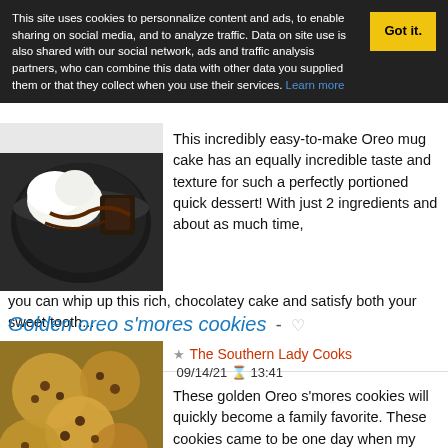This site uses cookies to personnalize content and ads, to enable sharing on social media, and to analyze traffic. Data on site use is also shared with our social network, ads and traffic analysis partners, who can combine this data with other data you supplied them or that they collect when you use their services. Learn more
This incredibly easy-to-make Oreo mug cake has an equally incredible taste and texture for such a perfectly portioned quick dessert! With just 2 ingredients and about as much time, you can whip up this rich, chocolatey cake and satisfy both your sweet tooth...
Oreo    Cake
Golden oreo s'mores cookies
The Southern Lady Cooks  09/14/21  13:41
These golden Oreo s'mores cookies will quickly become a family favorite. These cookies came to be one day when my husband wanted something sweet. I decided to use what I had...